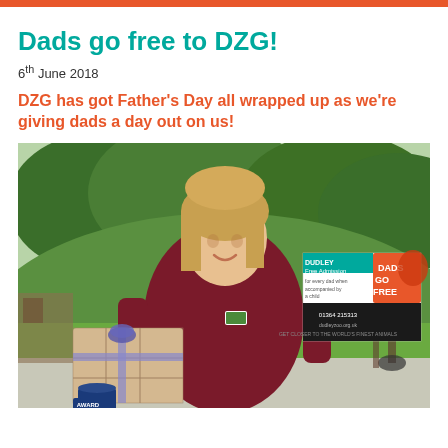Dads go free to DZG!
6th June 2018
DZG has got Father's Day all wrapped up as we're giving dads a day out on us!
[Figure (photo): A woman in a dark red/maroon polo shirt with a DZG logo badge smiling and holding up a wrapped gift box with ribbon and a 'Dads Go Free' free admission voucher/flyer. She is standing outdoors in front of green trees and park grounds.]